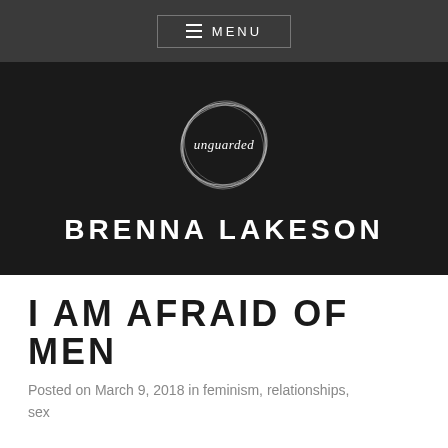≡ MENU
[Figure (logo): Circular hand-drawn logo with 'unguarded' written in script]
BRENNA LAKESON
I AM AFRAID OF MEN
Posted on March 9, 2018 in feminism, relationships, sex